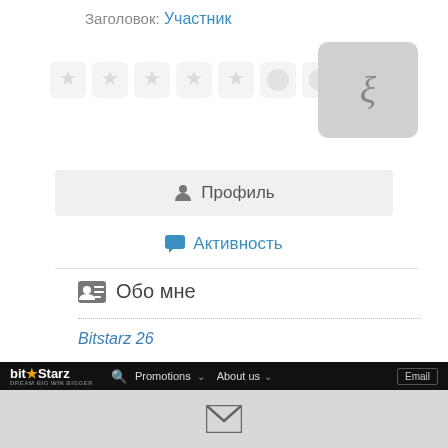Заголовок: Участник
[Figure (screenshot): Row of achievement badge icons (stars, circles, shields, trophy) in light grey, and a user avatar placeholder box with a stylized character icon]
👤 Профиль
💬 Активность
🪪 Обо мне
Bitstarz 26
[Figure (screenshot): Screenshot of BitStarz casino website header with logo, search icon, Promotions and About us navigation links, Email input, and SIGN UP AND GET banner on teal background]
[Figure (other): Envelope/mail icon centered in grey bottom bar]